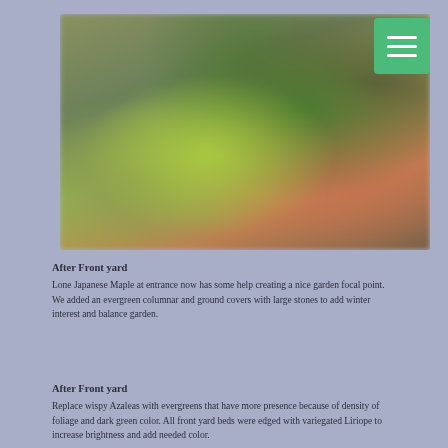[Figure (photo): A blurred garden photo showing a Japanese Maple and other plants including evergreens, with green and reddish-orange foliage.]
After Front yard
Lone Japanese Maple at entrance now has some help creating a nice garden focal point. We added an evergreen columnar and ground covers with large stones to add winter interest and balance garden.
After Front yard
Replace wispy Azaleas with evergreens that have more presence because of density of foliage and dark green color. All front yard beds were edged with variegated Liriope to increase brightness and add needed color.